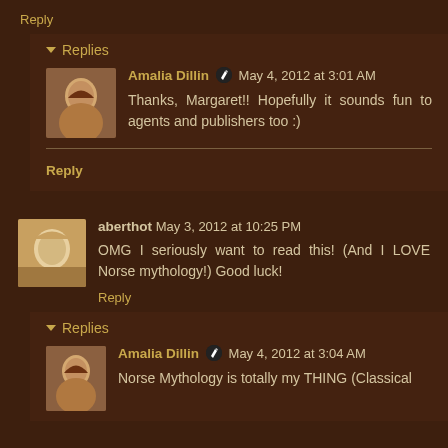Reply
Replies
Amalia Dillin ✏ May 4, 2012 at 3:01 AM
Thanks, Margaret!! Hopefully it sounds fun to agents and publishers too :)
Reply
aberthot May 3, 2012 at 10:25 PM
OMG I seriously want to read this! (And I LOVE Norse mythology!) Good luck!
Reply
Replies
Amalia Dillin ✏ May 4, 2012 at 3:04 AM
Norse Mythology is totally my THING (Classical